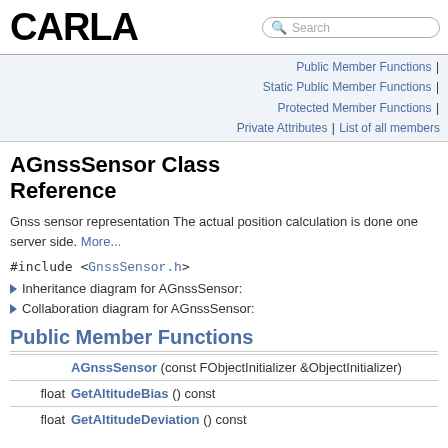CARLA
AGnssSensor Class Reference
Public Member Functions | Static Public Member Functions | Protected Member Functions | Private Attributes | List of all members
Gnss sensor representation The actual position calculation is done one server side. More...
#include <GnssSensor.h>
Inheritance diagram for AGnssSensor:
Collaboration diagram for AGnssSensor:
Public Member Functions
| Type | Function |
| --- | --- |
|  | AGnssSensor (const FObjectInitializer &ObjectInitializer) |
| float | GetAltitudeBias () const |
| float | GetAltitudeDeviation () const |